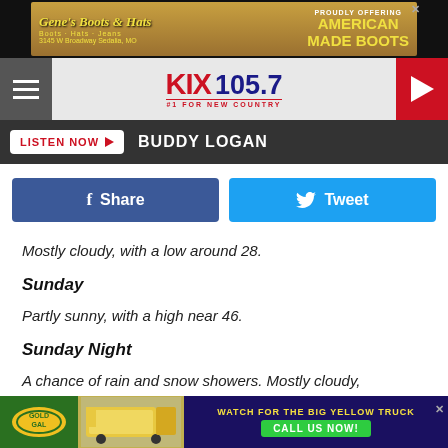[Figure (screenshot): Gene's Boots & Hats advertisement banner - Boots, Hats, Jeans - 3145 W Broadway Sedalia, MO - Proudly Offering American Made Boots]
[Figure (logo): KIX 105.7 radio station logo - #1 For New Country]
LISTEN NOW  BUDDY LOGAN
[Figure (screenshot): Facebook Share button and Twitter Tweet button]
Mostly cloudy, with a low around 28.
Sunday
Partly sunny, with a high near 46.
Sunday Night
A chance of rain and snow showers. Mostly cloudy,
[Figure (screenshot): Bottom advertisement: Watch for the Big Yellow Truck - Call Us Now! with logo and truck image]